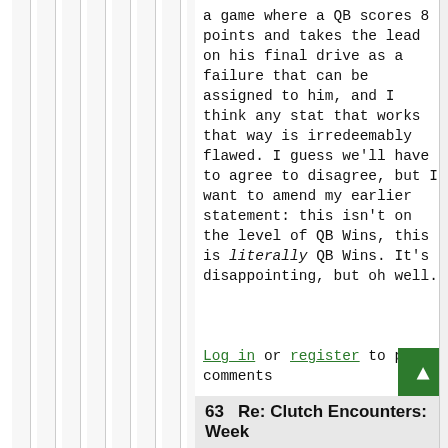a game where a QB scores 8 points and takes the lead on his final drive as a failure that can be assigned to him, and I think any stat that works that way is irredeemably flawed. I guess we'll have to agree to disagree, but I want to amend my earlier statement: this isn't on the level of QB Wins, this is literally QB Wins. It's disappointing, but oh well.
Log in or register to post comments
63   Re: Clutch Encounters: Week